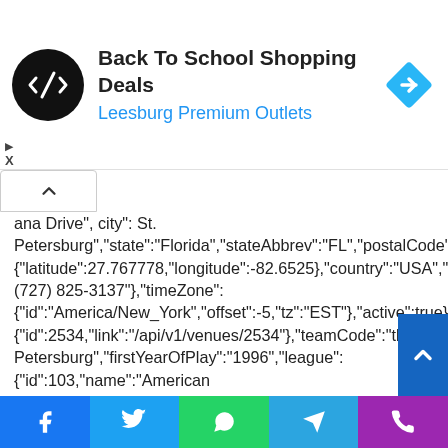[Figure (screenshot): Ad banner: Back To School Shopping Deals at Leesburg Premium Outlets with circular logo and navigation icon]
ana Drive", city": St. Petersburg","state":"Florida","stateAbbrev":"FL","postalCode":"33705","defaultCoordinates":{"latitude":27.767778,"longitude":-82.6525},"country":"USA","phone":"(727) 825-3137"},"timeZone":{"id":"America/New_York","offset":-5,"tz":"EST"},"active":true},"springVenue":{"id":2534,"link":"/api/v1/venues/2534"},"teamCode":"tba","fileCode":"tb","abbreviation":"TB","teamName":"Rays","locationName":"St. Petersburg","firstYearOfPlay":"1996","league":{"id":103,"name":"American League","link":"/api/v1/league/103"},"division":{"id":201,"name":"American
[Figure (screenshot): Bottom social sharing bar with Facebook, Twitter, WhatsApp, Telegram, Phone icons]